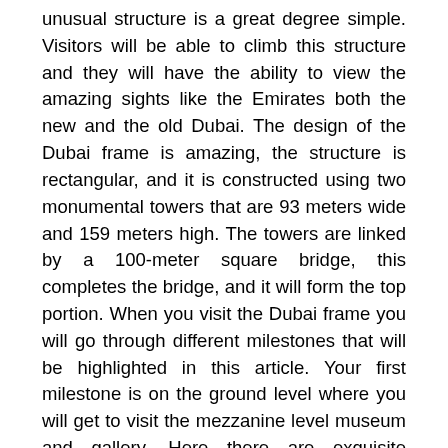unusual structure is a great degree simple. Visitors will be able to climb this structure and they will have the ability to view the amazing sights like the Emirates both the new and the old Dubai. The design of the Dubai frame is amazing, the structure is rectangular, and it is constructed using two monumental towers that are 93 meters wide and 159 meters high. The towers are linked by a 100-meter square bridge, this completes the bridge, and it will form the top portion. When you visit the Dubai frame you will go through different milestones that will be highlighted in this article. Your first milestone is on the ground level where you will get to visit the mezzanine level museum and gallery. Here there are exquisite presentations that exhibit the journey of Dubai from a fishing town to the world most prominent tourist destination. The next mile stone you will visit is the sky deck level; in this level you will be able to have amazing views of Dubai. You will have the ability to see modern day Dubai from each one of the walls, each one of the Dubai landmarks and you will have the ability to take in additionally amazing facts about the Dubai along the way.